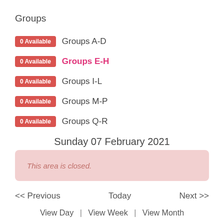Groups
0 Available  Groups A-D
0 Available  Groups E-H
0 Available  Groups I-L
0 Available  Groups M-P
0 Available  Groups Q-R
Sunday 07 February 2021
This area is closed.
<< Previous   Today   Next >>
View Day  |  View Week  |  View Month